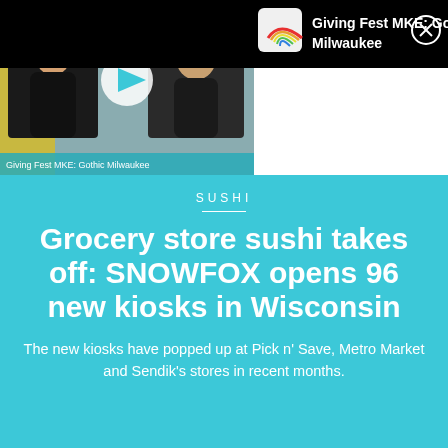[Figure (screenshot): Video thumbnail showing two people in a video call, with a play button overlay. Bottom bar reads 'Giving Fest MKE: Gothic Milwaukee'.]
[Figure (screenshot): Notification bar at top with rainbow icon, text 'Giving Fest MKE: Gothic Milwaukee', and close X button on black background.]
SUSHI
Grocery store sushi takes off: SNOWFOX opens 96 new kiosks in Wisconsin
The new kiosks have popped up at Pick n' Save, Metro Market and Sendik's stores in recent months.